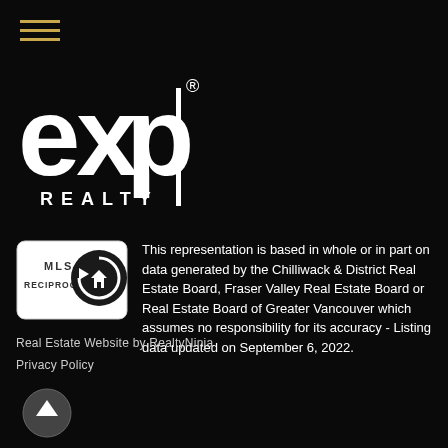[Figure (logo): Hamburger menu icon with three horizontal gold/yellow lines]
[Figure (logo): eXp Realty logo in white on black background]
[Figure (logo): MLS Reciprocity badge with house icon]
This representation is based in whole or in part on data generated by the Chilliwack & District Real Estate Board, Fraser Valley Real Estate Board or Real Estate Board of Greater Vancouver which assumes no responsibility for its accuracy - Listing data updated on September 6, 2022.
Real Estate Website by RealtyNinja
Privacy Policy